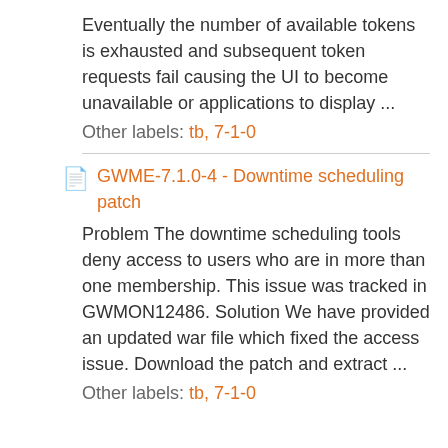Eventually the number of available tokens is exhausted and subsequent token requests fail causing the UI to become unavailable or applications to display ...
Other labels: tb, 7-1-0
GWME-7.1.0-4 - Downtime scheduling patch
Problem The downtime scheduling tools deny access to users who are in more than one membership. This issue was tracked in GWMON12486. Solution We have provided an updated war file which fixed the access issue. Download the patch and extract ...
Other labels: tb, 7-1-0